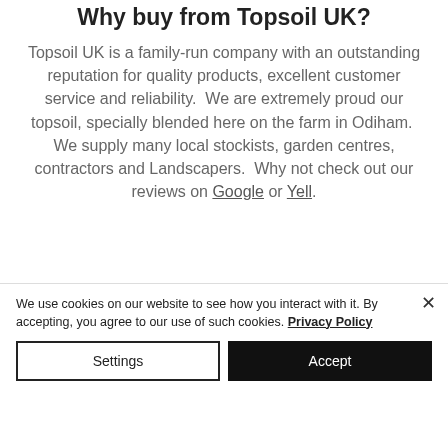Why buy from Topsoil UK?
Topsoil UK is a family-run company with an outstanding reputation for quality products, excellent customer service and reliability. We are extremely proud our topsoil, specially blended here on the farm in Odiham. We supply many local stockists, garden centres, contractors and Landscapers. Why not check out our reviews on Google or Yell.
We use cookies on our website to see how you interact with it. By accepting, you agree to our use of such cookies. Privacy Policy
Settings
Accept